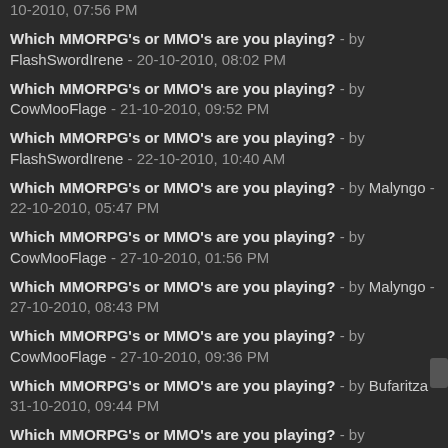Which MMORPG's or MMO's are you playing? - by FlashSwordIrene - 20-10-2010, 08:02 PM
Which MMORPG's or MMO's are you playing? - by CowMooFlage - 21-10-2010, 09:52 PM
Which MMORPG's or MMO's are you playing? - by FlashSwordIrene - 22-10-2010, 10:40 AM
Which MMORPG's or MMO's are you playing? - by Malyngo - 22-10-2010, 05:47 PM
Which MMORPG's or MMO's are you playing? - by CowMooFlage - 27-10-2010, 01:56 PM
Which MMORPG's or MMO's are you playing? - by Malyngo - 27-10-2010, 08:43 PM
Which MMORPG's or MMO's are you playing? - by CowMooFlage - 27-10-2010, 09:36 PM
Which MMORPG's or MMO's are you playing? - by Bufaritza - 31-10-2010, 09:44 PM
Which MMORPG's or MMO's are you playing? - by Kevin_mybb_import1 - 31-10-2010, 10:07 PM
Which MMORPG's or MMO's are you playing? - by Bufaritza - 31-10-2010, 10:23 PM
Which MMORPG's or MMO's are you playing? - by Kevin_mybb_import1 - 01-11-2010, 09:22 AM
Which MMORPG's or MMO's are you playing? - by Bufaritza - 01-11-2010, 01:11 PM